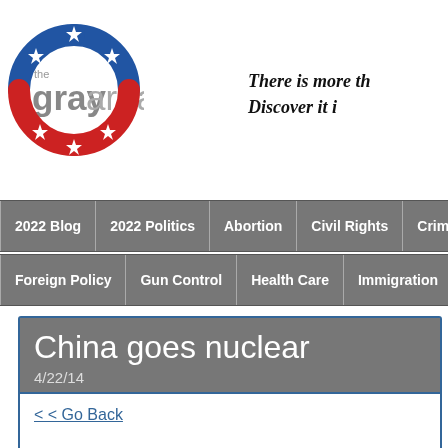[Figure (logo): The Gray Area logo with circular red/blue star ring and text 'the gray area']
There is more th
Discover it i
2022 Blog | 2022 Politics | Abortion | Civil Rights | Crime & Pu
Foreign Policy | Gun Control | Health Care | Immigration | Med
China goes nuclear
4/22/14
< < Go Back